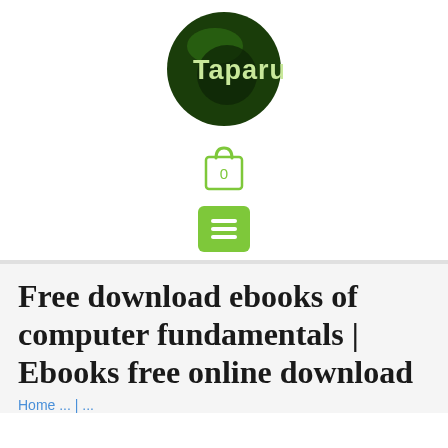[Figure (logo): Taparu circular logo — dark green circle with light green 'Taparu' text]
[Figure (illustration): Shopping bag icon with '0' inside, olive/green outline style]
[Figure (illustration): Green hamburger/menu button with three white horizontal lines]
Free download ebooks of computer fundamentals | Ebooks free online download
Home ... | ...